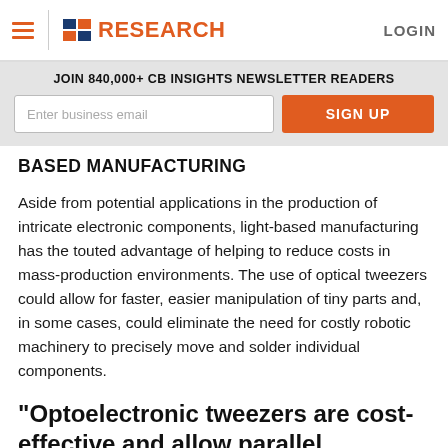CB INSIGHTS RESEARCH — LOGIN
JOIN 840,000+ CB INSIGHTS NEWSLETTER READERS
BASED MANUFACTURING
Aside from potential applications in the production of intricate electronic components, light-based manufacturing has the touted advantage of helping to reduce costs in mass-production environments. The use of optical tweezers could allow for faster, easier manipulation of tiny parts and, in some cases, could eliminate the need for costly robotic machinery to precisely move and solder individual components.
“Optoelectronic tweezers are cost-effective and allow parallel